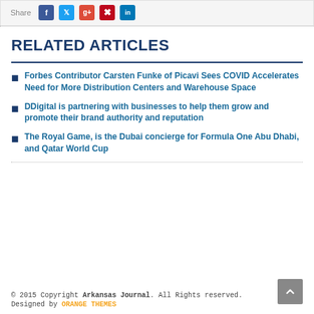Share [Facebook] [Twitter] [Google+] [Pinterest] [LinkedIn]
RELATED ARTICLES
Forbes Contributor Carsten Funke of Picavi Sees COVID Accelerates Need for More Distribution Centers and Warehouse Space
DDigital is partnering with businesses to help them grow and promote their brand authority and reputation
The Royal Game, is the Dubai concierge for Formula One Abu Dhabi, and Qatar World Cup
© 2015 Copyright Arkansas Journal. All Rights reserved. Designed by ORANGE THEMES